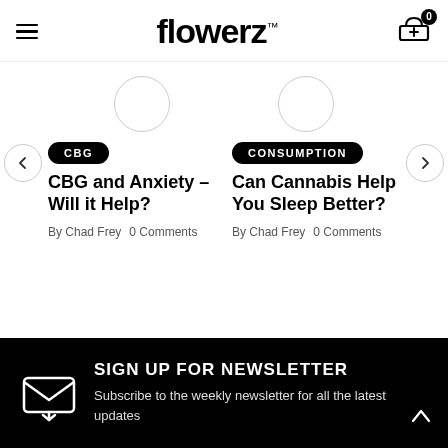flowerz
[Figure (illustration): Two circular outline images partially visible at top of page]
CBG — CBG and Anxiety – Will it Help? By Chad Frey 0 Comments
CONSUMPTION — Can Cannabis Help You Sleep Better? By Chad Frey 0 Comments
SIGN UP FOR NEWSLETTER
Subscribe to the weekly newsletter for all the latest updates